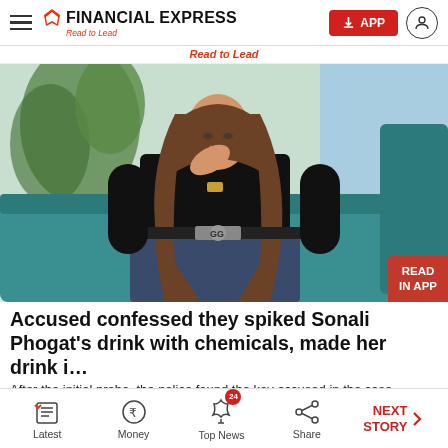FINANCIAL EXPRESS — Read to Lead
Read to Lead
[Figure (photo): Woman with long brown hair wearing black top and jeans with Gucci belt, sitting on a teal sofa with plants in the background]
Accused confessed they spiked Sonali Phogat's drink with chemicals, made her drink i…
After the initial probe, the police found the key accused in the case,
Latest | Money | Top News (24) | Share | NEXT STORY